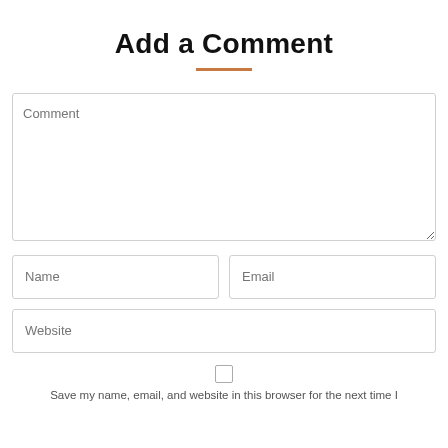Add a Comment
[Figure (other): Decorative orange horizontal underline beneath the title]
[Figure (other): Comment textarea input field with placeholder text 'Comment']
[Figure (other): Name input field (left) and Email input field (right) side by side]
[Figure (other): Website input field spanning full width]
[Figure (other): Checkbox (unchecked) centered on the page]
Save my name, email, and website in this browser for the next time I